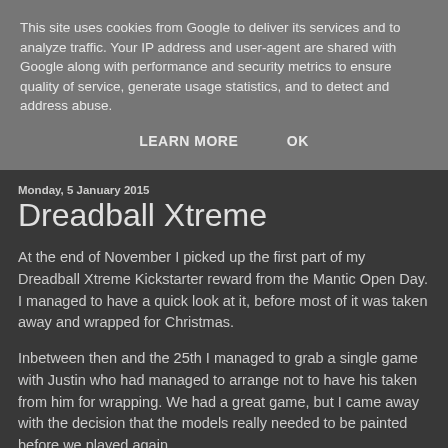This site uses cookies from Google to deliver its services and to analyze traffic. Your IP address and user-agent are shared with Google along with performance and security metrics to ensure quality of service, generate usage statistics, and to detect and address abuse.
LEARN MORE   OK
Monday, 5 January 2015
Dreadball Xtreme
At the end of November I picked up the first part of my Dreadball Xtreme Kickstarter reward from the Mantic Open Day. I managed to have a quick look at it, before most of it was taken away and wrapped for Christmas.
Inbetween then and the 25th I managed to grab a single game with Justin who had managed to arrange not to have his taken from him for wrapping. We had a great game, but I came away with the decision that the models really needed to be painted before we played again.